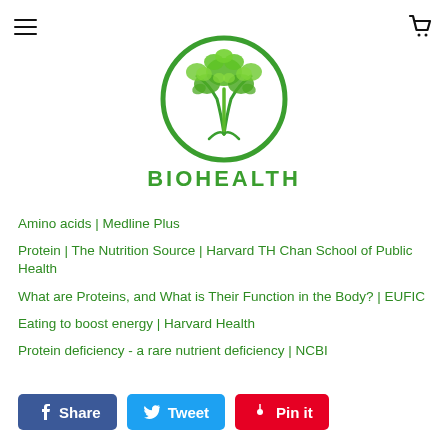BioHealth — navigation header with hamburger menu and cart icon
[Figure (logo): BioHealth logo: green tree inside a green circle, with 'BIOHEALTH' text in bold green below]
Amino acids | Medline Plus
Protein | The Nutrition Source | Harvard TH Chan School of Public Health
What are Proteins, and What is Their Function in the Body? | EUFIC
Eating to boost energy | Harvard Health
Protein deficiency - a rare nutrient deficiency | NCBI